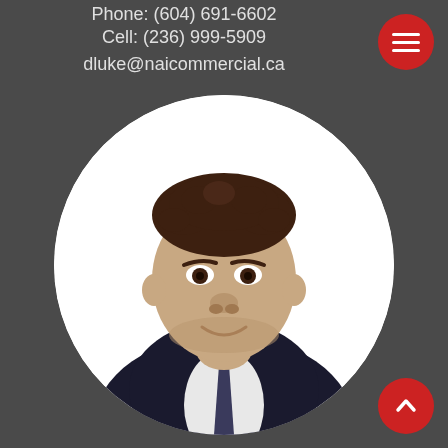Phone: (604) 691-6602
Cell: (236) 999-5909
dluke@naicommercial.ca
[Figure (photo): Circular cropped professional headshot of a man in a dark suit and tie, smiling, against a white background. Red menu hamburger button in top right corner and red back-to-top arrow button in bottom right corner.]